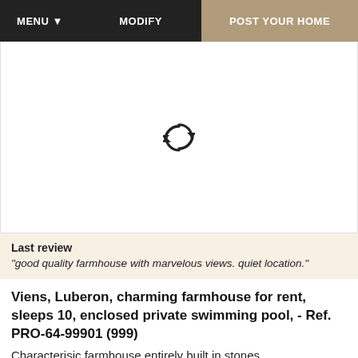MENU ▾   MODIFY   POST YOUR HOME
[Figure (photo): Image loading spinner/refresh icon on white background]
Last review
"good quality farmhouse with marvelous views. quiet location."
Viens, Luberon, charming farmhouse for rent, sleeps 10, enclosed private swimming pool, - Ref. PRO-64-99901 (999)
Characterisic farmhouse entirely built in stones,